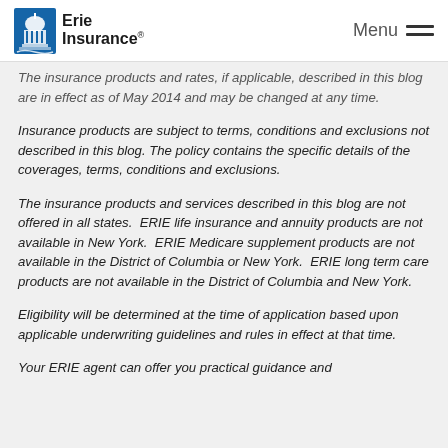Erie Insurance — Menu
The insurance products and rates, if applicable, described in this blog are in effect as of May 2014 and may be changed at any time.
Insurance products are subject to terms, conditions and exclusions not described in this blog. The policy contains the specific details of the coverages, terms, conditions and exclusions.
The insurance products and services described in this blog are not offered in all states. ERIE life insurance and annuity products are not available in New York. ERIE Medicare supplement products are not available in the District of Columbia or New York. ERIE long term care products are not available in the District of Columbia and New York.
Eligibility will be determined at the time of application based upon applicable underwriting guidelines and rules in effect at that time.
Your ERIE agent can offer you practical guidance and